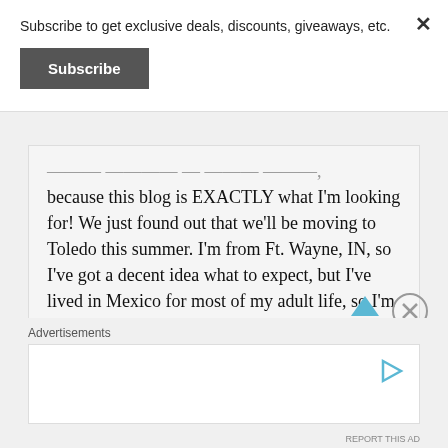Subscribe to get exclusive deals, discounts, giveaways, etc.
Subscribe
...I can't believe I found you, because this blog is EXACTLY what I'm looking for! We just found out that we'll be moving to Toledo this summer. I'm from Ft. Wayne, IN, so I've got a decent idea what to expect, but I've lived in Mexico for most of my adult life, so I'm still a little freaked out, as this is a BIG, FAT change! Thank you for blogging so much about Toledo, so I can have a better idea
Advertisements